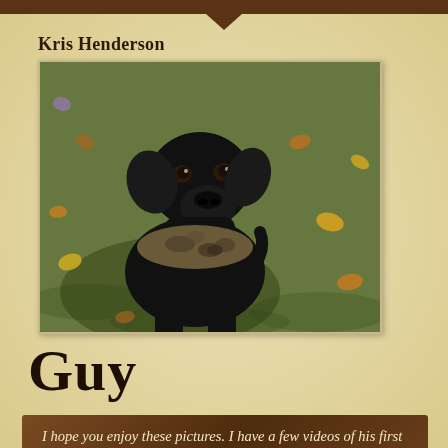Kris Henderson
[Figure (photo): A black Labrador Retriever dog wearing a camouflage bandana, sitting on grass with fallen autumn leaves scattered around.]
Guy
I hope you enjoy these pictures. I have a few videos of his first water retrieves as well as one